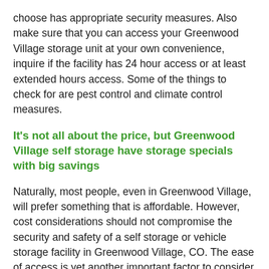choose has appropriate security measures. Also make sure that you can access your Greenwood Village storage unit at your own convenience, inquire if the facility has 24 hour access or at least extended hours access. Some of the things to check for are pest control and climate control measures.
It's not all about the price, but Greenwood Village self storage have storage specials with big savings
Naturally, most people, even in Greenwood Village, will prefer something that is affordable. However, cost considerations should not compromise the security and safety of a self storage or vehicle storage facility in Greenwood Village, CO. The ease of access is yet another important factor to consider when choosing self storage units in Greenwood Village. Make sure that the storage